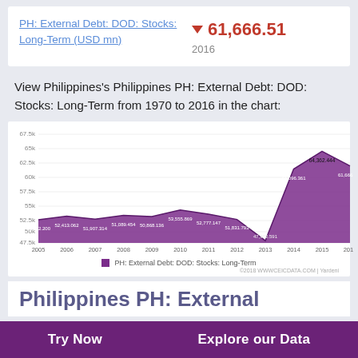PH: External Debt: DOD: Stocks: Long-Term (USD mn)
▼ 61,666.51
2016
View Philippines's Philippines PH: External Debt: DOD: Stocks: Long-Term from 1970 to 2016 in the chart:
[Figure (area-chart): PH: External Debt: DOD: Stocks: Long-Term]
■ PH: External Debt: DOD: Stocks: Long-Term
Philippines PH: External
Try Now
Explore our Data